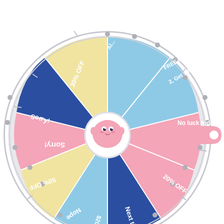[Figure (other): A colorful prize spin wheel with 10 segments in blue, pink, yellow/cream, and light blue colors. Segments are labeled (clockwise from top-right): partially visible text, 'FREE KIT (Buy 2, Get 1 Free)', 'No luck today' (highlighted/selected with pink arrow pointer on the right), '20% OFF', 'Next time', '$20 OFF $50+', 'Nope', '50% OFF', 'Sorry!', '30% OFF', and more partially visible at top. A cute pink character/mascot is at the center of the wheel. A pink teardrop-shaped pointer on the right indicates the landing segment.]